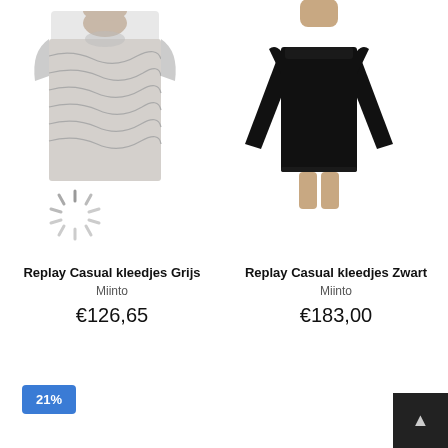[Figure (photo): Product photo of Replay Casual kleedjes Grijs (grey snake-print short-sleeve dress), torso view]
[Figure (other): Loading spinner / activity indicator]
[Figure (photo): Product photo of Replay Casual kleedjes Zwart (black long-sleeve mini dress), full-length model view]
Replay Casual kleedjes Grijs
Miinto
€126,65
Replay Casual kleedjes Zwart
Miinto
€183,00
21%